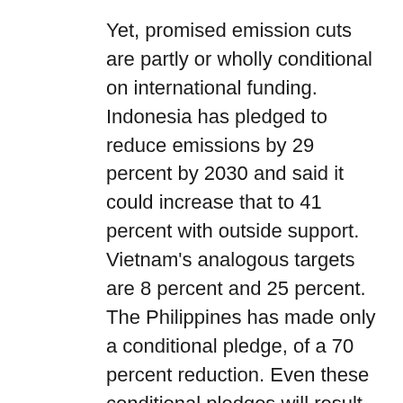Yet, promised emission cuts are partly or wholly conditional on international funding. Indonesia has pledged to reduce emissions by 29 percent by 2030 and said it could increase that to 41 percent with outside support. Vietnam's analogous targets are 8 percent and 25 percent. The Philippines has made only a conditional pledge, of a 70 percent reduction. Even these conditional pledges will result in higher global warming than envisaged under the Paris Agreement, highlighting the need for more ambitious goals.
While the region has seen increases in renewable energy sources, particularly solar and wind, their limited generation capacity means countries remain reliant on fossil fuels. Consumption of all types of fuels is rising as governments strive to provide universal access to electricity and petroleum-based fuels for cooking and transport. The IEA estimates that 65 million Southeast Asians lack electricity and 350 million...